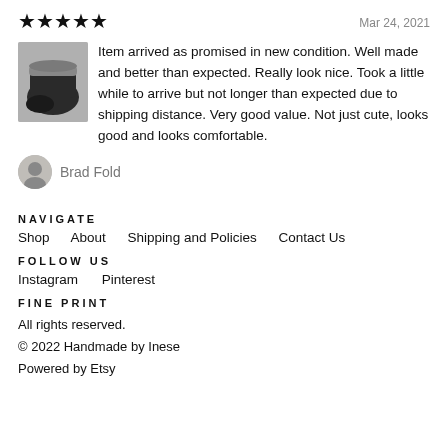[Figure (other): Five black star icons indicating a 5-star rating]
Mar 24, 2021
[Figure (photo): Thumbnail photo of dark baby booties with fur trim]
Item arrived as promised in new condition. Well made and better than expected. Really look nice. Took a little while to arrive but not longer than expected due to shipping distance. Very good value. Not just cute, looks good and looks comfortable.
[Figure (photo): Small circular avatar photo of reviewer Brad Fold]
Brad Fold
NAVIGATE
Shop
About
Shipping and Policies
Contact Us
FOLLOW US
Instagram
Pinterest
FINE PRINT
All rights reserved.
© 2022 Handmade by Inese
Powered by Etsy